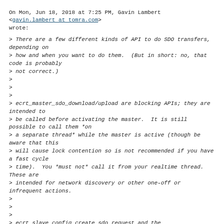On Mon, Jun 18, 2018 at 7:25 PM, Gavin Lambert <gavin.lambert at tomra.com> wrote:
> There are a few different kinds of API to do SDO transfers, depending on
> how and when you want to do them.  (But in short: no, that code is probably
> not correct.)
>
>
>
> ecrt_master_sdo_download/upload are blocking APIs; they are intended to
> be called before activating the master.  It is still possible to call them *on
> a separate thread* while the master is active (though be aware that this
> will cause lock contention so is not recommended if you have a fast cycle
> time).  You *must not* call it from your realtime thread.  These are
> intended for network discovery or other one-off or infrequent actions.
>
>
>
> ecrt slave config create sdo request and the